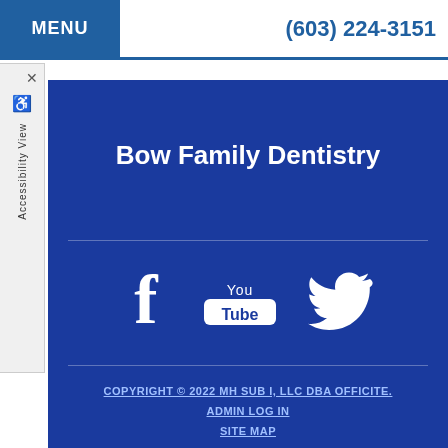MENU | (603) 224-3151
Bow Family Dentistry
[Figure (illustration): Social media icons: Facebook, YouTube, Twitter in white on dark blue background]
COPYRIGHT © 2022 MH SUB I, LLC DBA OFFICITE. | ADMIN LOG IN | SITE MAP